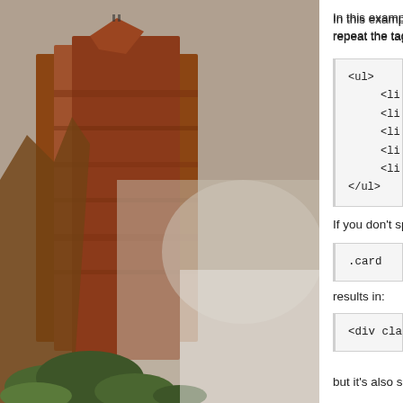[Figure (photo): A tall red rock canyon cliff face with some vegetation at the bottom, and small figures visible at the top. The photo occupies the left portion of the page as a background image.]
In this example, the $ tells Emmett to add a counter and repeat the tag five times:
<ul>
    <li id="item1"></li>
    <li id="item2"></li>
    <li id="item3"></li>
    <li id="item4"></li>
    <li id="item5"></li>
</ul>
If you don't specify a tag name, Emmett defaults to
.card
results in:
<div class="card"></div>
but it's also smart enough to use a span if you creat